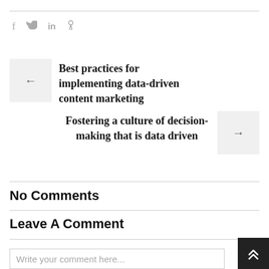[Figure (other): Social media share icons: f (Facebook), Twitter bird, in (LinkedIn), Pinterest pin]
Best practices for implementing data-driven content marketing
Fostering a culture of decision-making that is data driven
No Comments
Leave A Comment
Write your comment here...